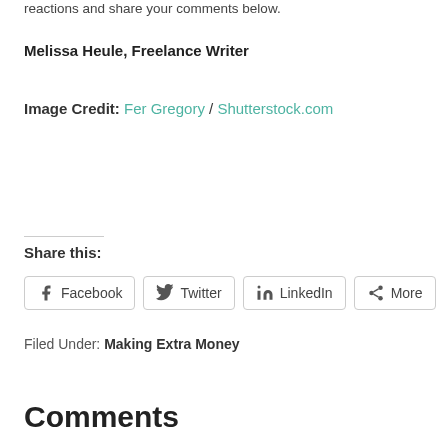reactions and share your comments below.
Melissa Heule, Freelance Writer
Image Credit: Fer Gregory / Shutterstock.com
Share this:
Facebook   Twitter   LinkedIn   More
Filed Under: Making Extra Money
Comments